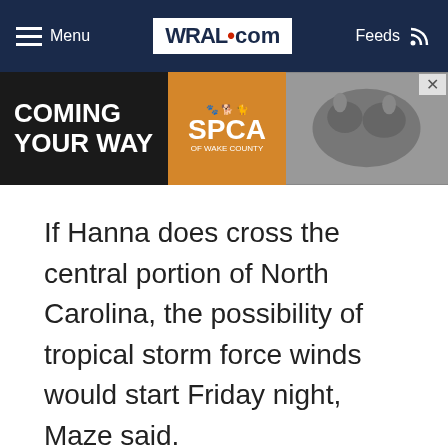Menu  WRAL.com  Feeds
[Figure (other): Advertisement banner: COMING YOUR WAY text with SPCA of Wake County logo and image of a cat]
If Hanna does cross the central portion of North Carolina, the possibility of tropical storm force winds would start Friday night, Maze said.
Emergency responders in North Carolina are getting ready in case Hanna arrives in the state.